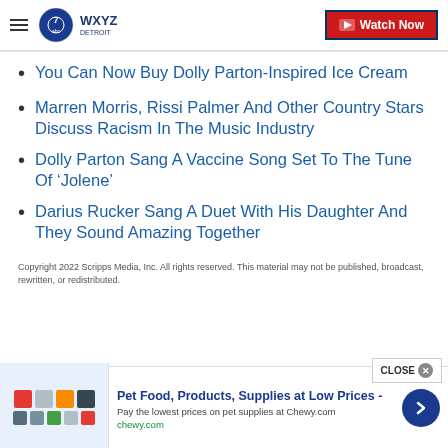WXYZ Detroit — Watch Now
You Can Now Buy Dolly Parton-Inspired Ice Cream
Marren Morris, Rissi Palmer And Other Country Stars Discuss Racism In The Music Industry
Dolly Parton Sang A Vaccine Song Set To The Tune Of ‘Jolene’
Darius Rucker Sang A Duet With His Daughter And They Sound Amazing Together
Copyright 2022 Scripps Media, Inc. All rights reserved. This material may not be published, broadcast, rewritten, or redistributed.
Pet Food, Products, Supplies at Low Prices - Pay the lowest prices on pet supplies at Chewy.com chewy.com